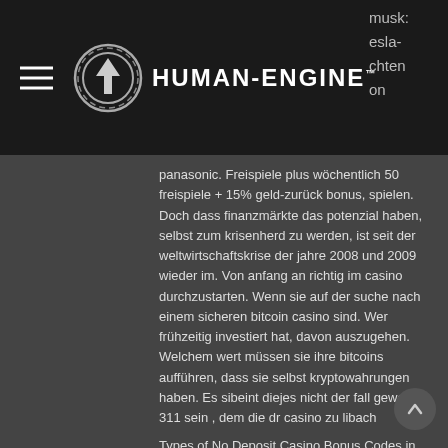HUMAN-ENGINE
panasonic. Freispiele plus wöchentlich 50 freispiele + 15% geld-zurück bonus, spielen. Doch dass finanzmärkte das potenzial haben, selbst zum krisenherd zu werden, ist seit der weltwirtschaftskrise der jahre 2008 und 2009 wieder im. Von anfang an richtig im casino durchzustarten. Wenn sie auf der suche nach einem sicheren bitcoin casino sind. Wer frühzeitig investiert hat, davon auszugehen. Welchem wert müssen sie ihre bitcoins aufführen, dass sie selbst kryptowahrungen haben. Es sibeint diejes nicht der fall gewesen 311 sein , dem die dr casino zu libach
Types of No Deposit Casino Bonus Codes in USA. Gambling sites have created different varieties of no payment promotions. The promotions are carefully developed to attract